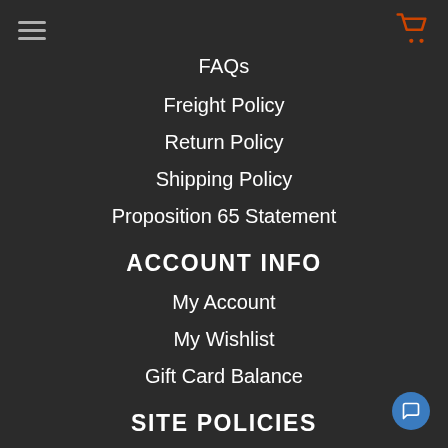☰  🛒
FAQs
Freight Policy
Return Policy
Shipping Policy
Proposition 65 Statement
ACCOUNT INFO
My Account
My Wishlist
Gift Card Balance
SITE POLICIES
Privacy Policy
Terms of Use